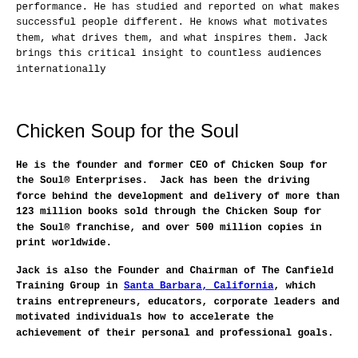performance. He has studied and reported on what makes successful people different. He knows what motivates them, what drives them, and what inspires them. Jack brings this critical insight to countless audiences internationally
Chicken Soup for the Soul
He is the founder and former CEO of Chicken Soup for the Soul® Enterprises.  Jack has been the driving force behind the development and delivery of more than 123 million books sold through the Chicken Soup for the Soul® franchise, and over 500 million copies in print worldwide.
Jack is also the Founder and Chairman of The Canfield Training Group in Santa Barbara, California, which trains entrepreneurs, educators, corporate leaders and motivated individuals how to accelerate the achievement of their personal and professional goals.